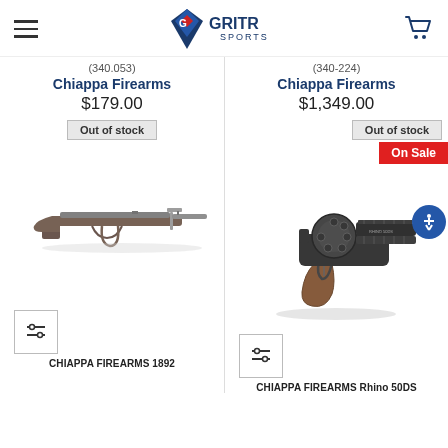[Figure (logo): GriTR Sports logo with navigation hamburger menu and cart icon]
(340.053)
(340-224)
Chiappa Firearms
Chiappa Firearms
$179.00
$1,349.00
Out of stock
Out of stock
On Sale
[Figure (photo): Chiappa Firearms 1892 lever-action rifle, blurred product photo]
[Figure (photo): Chiappa Firearms Rhino 50DS revolver with brown grip, black finish, product photo]
CHIAPPA FIREARMS 1892
CHIAPPA FIREARMS Rhino 50DS